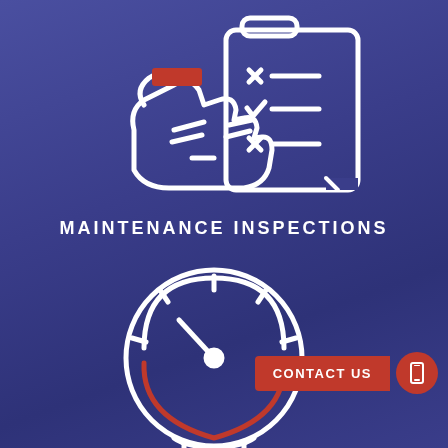[Figure (illustration): White line icon of a hand holding a document/checklist with X and checkmark items, with a red rectangle accent, on dark blue background]
MAINTENANCE INSPECTIONS
[Figure (illustration): White line icon of a clock/gauge dial with a pointer, partially shown at bottom of page]
CONTACT US